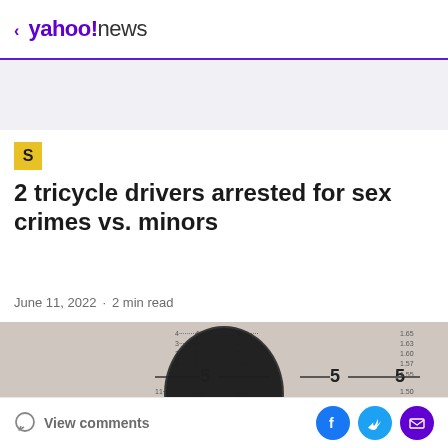< yahoo!news
[Figure (logo): Yahoo News logo with purple back arrow and brand name]
[Figure (photo): Grey ad placeholder banner area]
[Figure (logo): Small yellow square source icon with letter S]
2 tricycle drivers arrested for sex crimes vs. minors
June 11, 2022 · 2 min read
[Figure (photo): Mugshot-style photo of an arrested person standing in front of a measurement board, face blurred]
View comments
[Figure (other): Social share buttons: Facebook, Twitter, Email]